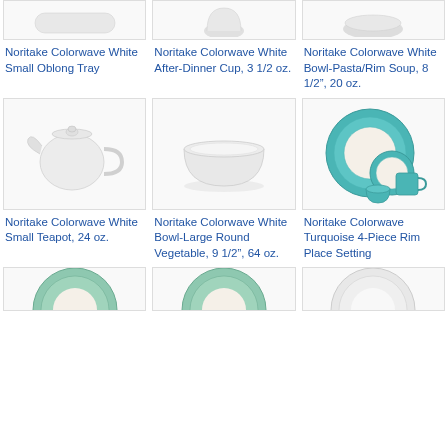[Figure (photo): Noritake Colorwave White Small Oblong Tray product image]
Noritake Colorwave White Small Oblong Tray
[Figure (photo): Noritake Colorwave White After-Dinner Cup product image]
Noritake Colorwave White After-Dinner Cup, 3 1/2 oz.
[Figure (photo): Noritake Colorwave White Bowl-Pasta/Rim Soup product image]
Noritake Colorwave White Bowl-Pasta/Rim Soup, 8 1/2”, 20 oz.
[Figure (photo): Noritake Colorwave White Small Teapot product image showing white teapot]
Noritake Colorwave White Small Teapot, 24 oz.
[Figure (photo): Noritake Colorwave White Bowl-Large Round Vegetable product image showing white bowl]
Noritake Colorwave White Bowl-Large Round Vegetable, 9 1/2”, 64 oz.
[Figure (photo): Noritake Colorwave Turquoise 4-Piece Rim Place Setting product image showing turquoise dinnerware set]
Noritake Colorwave Turquoise 4-Piece Rim Place Setting
[Figure (photo): Bottom row product image 1 - partial view]
[Figure (photo): Bottom row product image 2 - partial view]
[Figure (photo): Bottom row product image 3 - partial view]